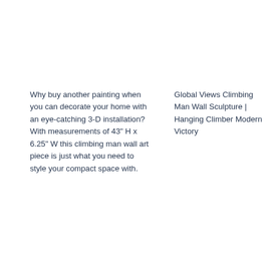Why buy another painting when you can decorate your home with an eye-catching 3-D installation? With measurements of 43" H x 6.25" W this climbing man wall art piece is just what you need to style your compact space with.
Global Views Climbing Man Wall Sculpture | Hanging Climber Modern Victory